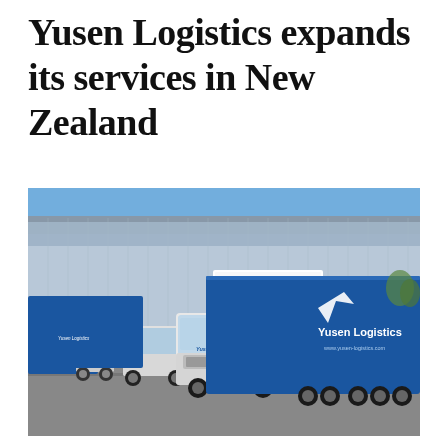Yusen Logistics expands its services in New Zealand
[Figure (photo): Photograph of Yusen Logistics trucks (white cab, blue trailer with Yusen Logistics logo) parked in front of a large blue and grey warehouse building with a Yusen Logistics sign on the facade. Clear blue sky visible above.]